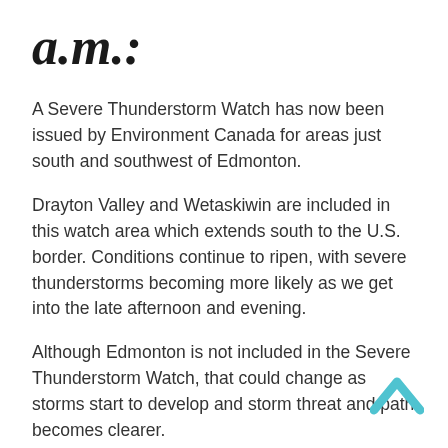a.m.:
A Severe Thunderstorm Watch has now been issued by Environment Canada for areas just south and southwest of Edmonton.
Drayton Valley and Wetaskiwin are included in this watch area which extends south to the U.S. border. Conditions continue to ripen, with severe thunderstorms becoming more likely as we get into the late afternoon and evening.
Although Edmonton is not included in the Severe Thunderstorm Watch, that could change as storms start to develop and storm threat and path becomes clearer.
Remember, the dangers of severe thunderstorms include lightning, strong damaging winds and hail